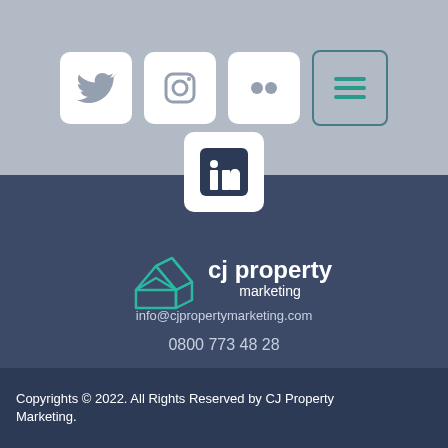[Figure (illustration): Social media icons: Twitter, Instagram, Flickr (white rounded square buttons on grey background), and a teal hamburger menu icon button]
[Figure (logo): LinkedIn icon in white rounded square box, floating between grey top bar and dark navy bottom section]
[Figure (logo): CJ Property Marketing logo: teal wireframe house/building icon with company name 'cj property marketing' in white text on dark navy background]
info@cjpropertymarketing.com
0800 773 48 28
Copyrights © 2022. All Rights Reserved by CJ Property Marketing.